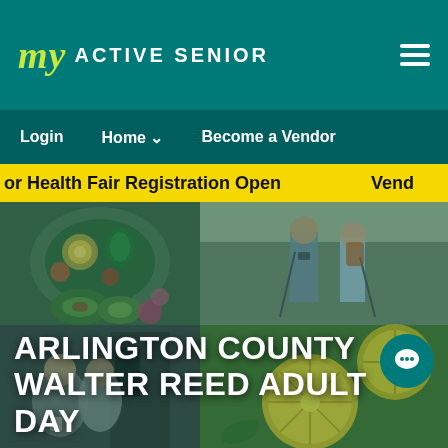My ACTIVE SENIOR
Login  Home  Become a Vendor
or Health Fair Registration Open   Vend
[Figure (photo): Collage of four photos: healthy food bowl with avocado and eggs (top left), two seniors hiking with poles (top right), two people chatting outdoors (bottom left), sliced lemons in water (bottom right)]
ARLINGTON COUNTY WALTER REED ADULT DAY